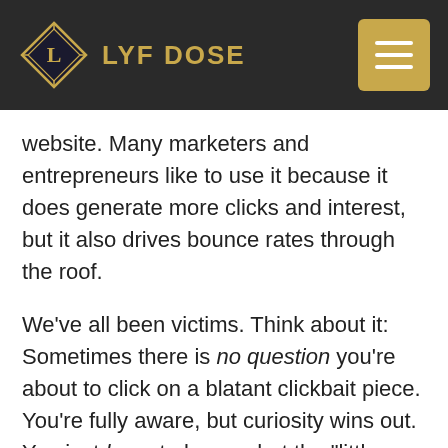LYF DOSE
website. Many marketers and entrepreneurs like to use it because it does generate more clicks and interest, but it also drives bounce rates through the roof.
We’ve all been victims. Think about it: Sometimes there is no question you’re about to click on a blatant clickbait piece. You’re fully aware, but curiosity wins out. You just have to know what the “little-known hack to drop 20 pounds by tomorrow night” is all about.
Related: The Future of Content Marketing: Why Clickbait Won't Cut It